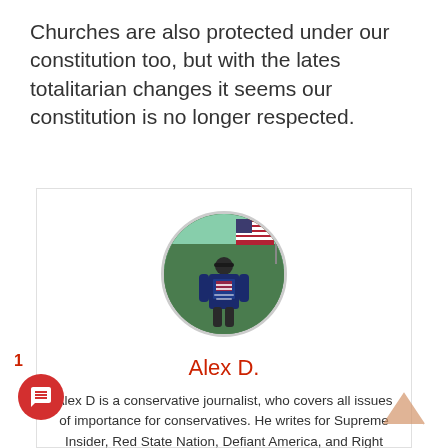Churches are also protected under our constitution too, but with the lates totalitarian changes it seems our constitution is no longer respected.
[Figure (photo): Circular profile photo of a person standing with their back to the camera wearing a 'Stand for the Flag, Kneel for the Cross' shirt with an American flag in the background]
Alex D.
Alex D is a conservative journalist, who covers all issues of importance for conservatives. He writes for Supreme Insider, Red State Nation, Defiant America, and Right Journalism. He brings attention and insight from what happens in the White House to the streets of American towns, because it all has an impact on our future, and the country left for our children. Exposing the truth is his